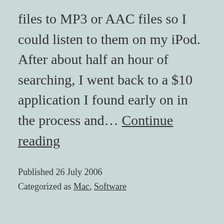files to MP3 or AAC files so I could listen to them on my iPod. After about half an hour of searching, I went back to a $10 application I found early on in the process and… Continue reading
Published 26 July 2006
Categorized as Mac, Software